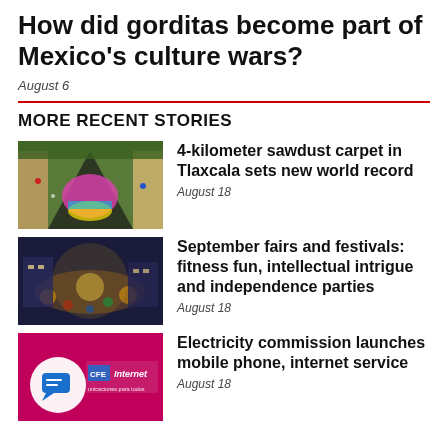How did gorditas become part of Mexico's culture wars?
August 6
MORE RECENT STORIES
[Figure (photo): Aerial view of a colorful 4-kilometer sawdust carpet in Tlaxcala street]
4-kilometer sawdust carpet in Tlaxcala sets new world record
August 18
[Figure (photo): Aerial night view of a plaza lit up with lights and crowds for a September festival]
September fairs and festivals: fitness fun, intellectual intrigue and independence parties
August 18
[Figure (photo): CFE Internet banner with communications logo on magenta background]
Electricity commission launches mobile phone, internet service
August 18